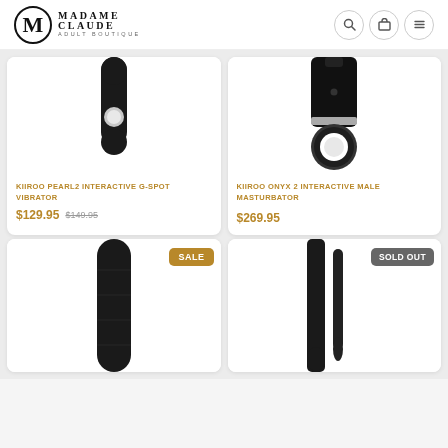Madame Claude Adult Boutique
[Figure (photo): Partial product image of KIIROO Pearl2 vibrator, black device with silver button]
KIIROO PEARL2 INTERACTIVE G-SPOT VIBRATOR
$129.95  $149.95
[Figure (photo): Partial product image of KIIROO Onyx 2 male masturbator, black cylindrical device with white interior opening]
KIIROO ONYX 2 INTERACTIVE MALE MASTURBATOR
$269.95
[Figure (photo): Partial product image of a black cylindrical device with SALE badge]
[Figure (photo): Partial product image of a black slim device with SOLD OUT badge]